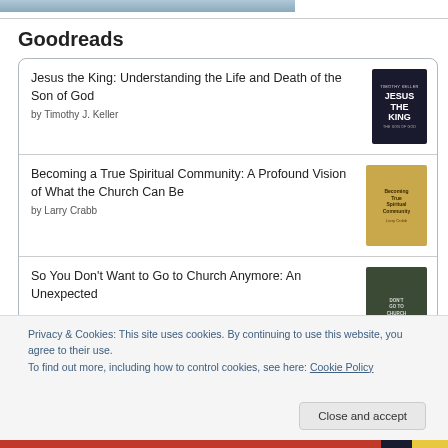[Figure (photo): Partial cropped image at top of page, appears to be a landscape or sky photo in blue-grey tones]
Goodreads
Jesus the King: Understanding the Life and Death of the Son of God by Timothy J. Keller
Becoming a True Spiritual Community: A Profound Vision of What the Church Can Be by Larry Crabb
So You Don't Want to Go to Church Anymore: An Unexpected
Privacy & Cookies: This site uses cookies. By continuing to use this website, you agree to their use.
To find out more, including how to control cookies, see here: Cookie Policy
Close and accept